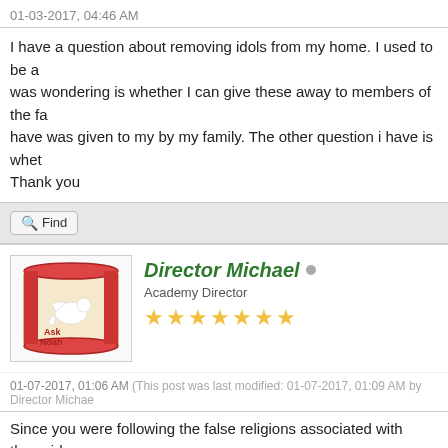01-03-2017, 04:46 AM
I have a question about removing idols from my home. I used to be a was wondering is whether I can give these away to members of the fa have was given to my by my family. The other question i have is whet Thank you
Find
Director Michael
Academy Director
★★★★★★★
01-07-2017, 01:06 AM (This post was last modified: 01-07-2017, 01:09 AM by Director Michae
Since you were following the false religions associated with those ido garbage, after breaking their faces, or a feature off of their faces, with
Website   Find
Eve7noah